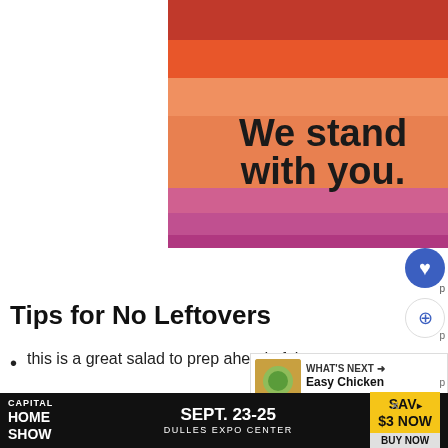[Figure (illustration): Lesbian pride flag with five horizontal stripes in dark red, orange-red, light orange, pink/mauve, and magenta/deep pink colors, with bold black text 'We stand with you.' overlaid across the middle stripes]
Tips for No Leftovers
this is a great salad to prep ahead of time;
Just chop the ingredients and store until
[Figure (infographic): Capital Home Show advertisement banner: SEPT. 23-25, DULLES EXPO CENTER, SAVE $3 NOW, BUY NOW]